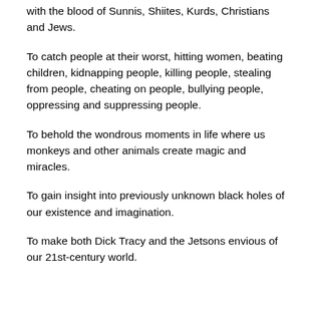with the blood of Sunnis, Shiites, Kurds, Christians and Jews.
To catch people at their worst, hitting women, beating children, kidnapping people, killing people, stealing from people, cheating on people, bullying people, oppressing and suppressing people.
To behold the wondrous moments in life where us monkeys and other animals create magic and miracles.
To gain insight into previously unknown black holes of our existence and imagination.
To make both Dick Tracy and the Jetsons envious of our 21st-century world.